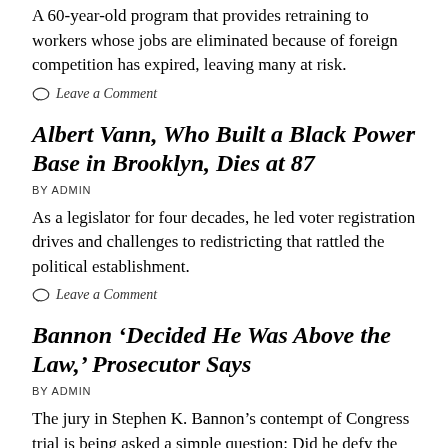A 60-year-old program that provides retraining to workers whose jobs are eliminated because of foreign competition has expired, leaving many at risk.
Leave a Comment
Albert Vann, Who Built a Black Power Base in Brooklyn, Dies at 87
BY ADMIN
As a legislator for four decades, he led voter registration drives and challenges to redistricting that rattled the political establishment.
Leave a Comment
Bannon ‘Decided He Was Above the Law,’ Prosecutor Says
BY ADMIN
The jury in Stephen K. Bannon’s contempt of Congress trial is being asked a simple question: Did he defy the House panel investigating the Jan. 6 attack by ignoring